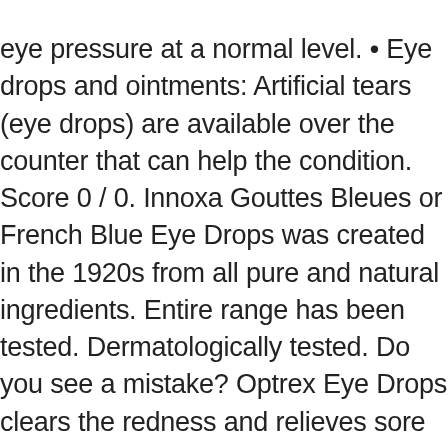eye pressure at a normal level. • Eye drops and ointments: Artificial tears (eye drops) are available over the counter that can help the condition. Score 0 / 0. Innoxa Gouttes Bleues or French Blue Eye Drops was created in the 1920s from all pure and natural ingredients. Entire range has been tested. Dermatologically tested. Do you see a mistake? Optrex Eye Drops clears the redness and relieves sore eyes.Dusty smoky atmospheres, eye strain and chlorine in swimming... Overview GenTeal Moisturising Eye Drops is a lubricant ophthalmic solution for people who experience sensation of... Overview Systane Balance Lubricant Eye Drops have restorative formula, clinical strength and intensive therapy for the... Sterile Eye Drops 100% Natural Active ingredients Homeopathic Original Swiss Formula No Harsh... Overview Opti-Free Pro